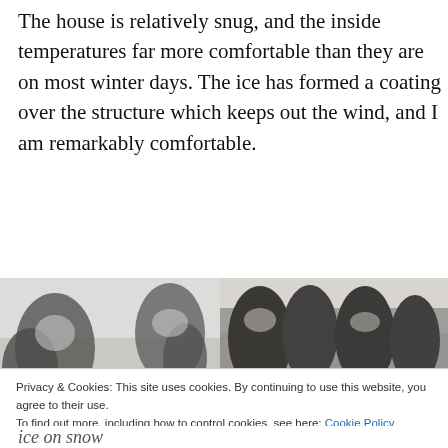The house is relatively snug, and the inside temperatures far more comfortable than they are on most winter days. The ice has formed a coating over the structure which keeps out the wind, and I am remarkably comfortable.
[Figure (photo): Two side-by-side black and white / desaturated winter photographs showing ice-covered trees and snowy landscape]
Privacy & Cookies: This site uses cookies. By continuing to use this website, you agree to their use.
To find out more, including how to control cookies, see here: Cookie Policy
ice on snow